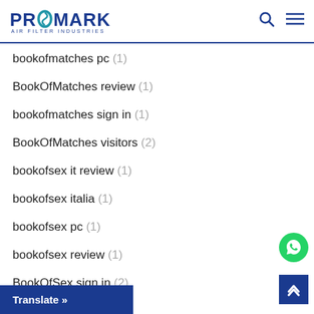PROMARK AIR FILTER INDUSTRIES
bookofmatches pc (1)
BookOfMatches review (1)
bookofmatches sign in (1)
BookOfMatches visitors (2)
bookofsex it review (1)
bookofsex italia (1)
bookofsex pc (1)
bookofsex review (1)
BookOfSex sign in (2)
b...me (1)
Translate »